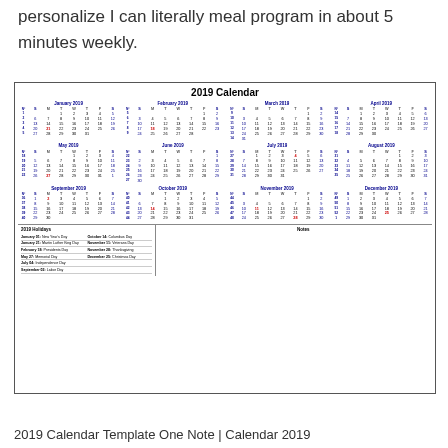personalize I can literally meal program in about 5 minutes weekly.
[Figure (other): 2019 full year calendar with months January through December, holidays section, and notes section]
2019 Calendar Template One Note | Calendar 2019